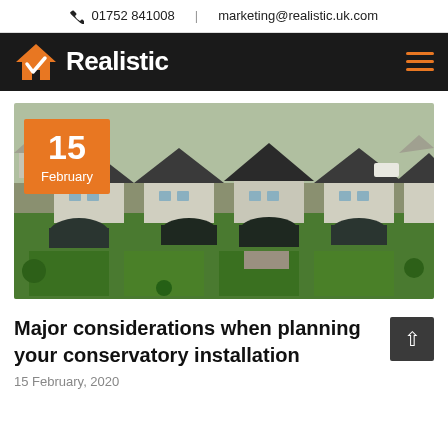📞 01752 841008  |  marketing@realistic.uk.com
[Figure (logo): Realistic company logo with orange house/checkmark icon and white bold text 'Realistic' on dark background]
[Figure (photo): Aerial drone photograph of a residential street showing multiple houses with conservatories, green lawns, and tiled roofs. Orange date badge overlay showing '15 February'.]
Major considerations when planning your conservatory installation
15 February, 2020